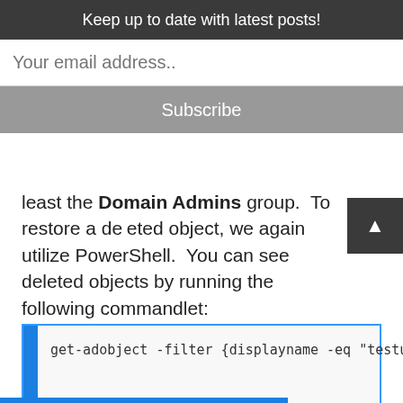Keep up to date with latest posts!
Your email address..
Subscribe
least the Domain Admins group. To restore a deleted object, we again utilize PowerShell. You can see deleted objects by running the following commandlet:
As expected, I see the testuser account.